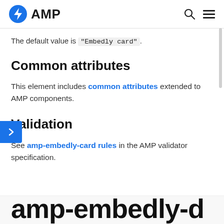AMP
The default value is "Embedly card".
Common attributes
This element includes common attributes extended to AMP components.
Validation
See amp-embedly-card rules in the AMP validator specification.